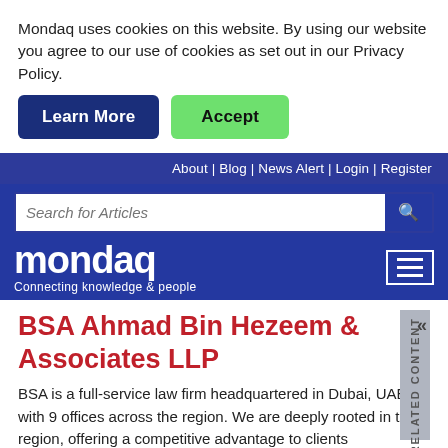Mondaq uses cookies on this website. By using our website you agree to our use of cookies as set out in our Privacy Policy.
Learn More | Accept
About | Blog | News Alert | Login | Register
[Figure (screenshot): Mondaq website header with search bar and logo]
BSA Ahmad Bin Hezeem & Associates LLP
BSA is a full-service law firm headquartered in Dubai, UAE, with 9 offices across the region. We are deeply rooted in the region, offering a competitive advantage to clients